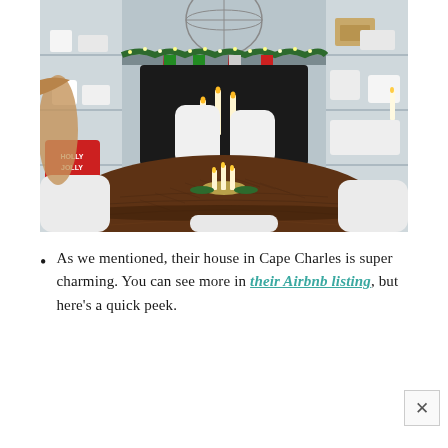[Figure (photo): Interior photo of a Christmas-decorated dining room with a large round wooden table in the foreground, white chairs, and a fireplace mantel decorated with red and green stockings and garland in the background. White built-in shelves flank the fireplace. A red 'Holly Jolly' pillow is visible on the left.]
As we mentioned, their house in Cape Charles is super charming. You can see more in their Airbnb listing, but here's a quick peek.